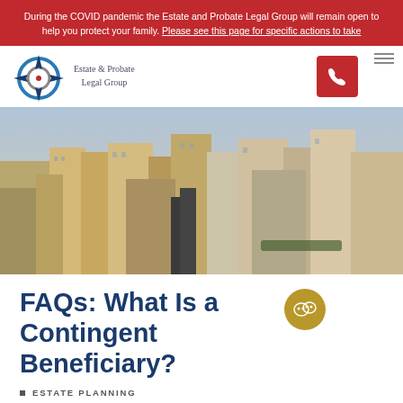During the COVID pandemic the Estate and Probate Legal Group will remain open to help you protect your family. Please see this page for specific actions to take
[Figure (logo): Estate & Probate Legal Group logo with circular compass-like icon and text]
[Figure (photo): Aerial city skyline photograph showing dense urban buildings and skyscrapers, likely New York City]
FAQs: What Is a Contingent Beneficiary?
ESTATE PLANNING